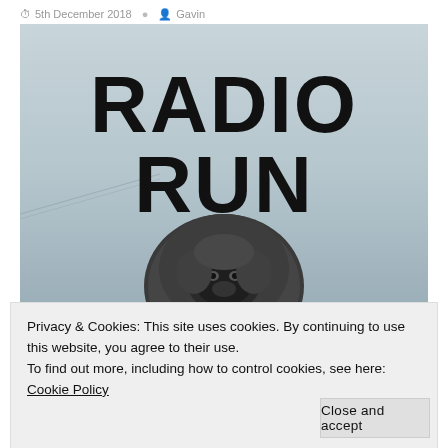5th December 2018  Gavin
[Figure (photo): Book cover for 'Radio Run' — black and white image with large bold uppercase text reading RADIO RUN at the top, and a large fluffy gorilla/ape figure in the center-bottom of the cover, against a misty bridge background.]
Privacy & Cookies: This site uses cookies. By continuing to use this website, you agree to their use.
To find out more, including how to control cookies, see here: Cookie Policy
Close and accept